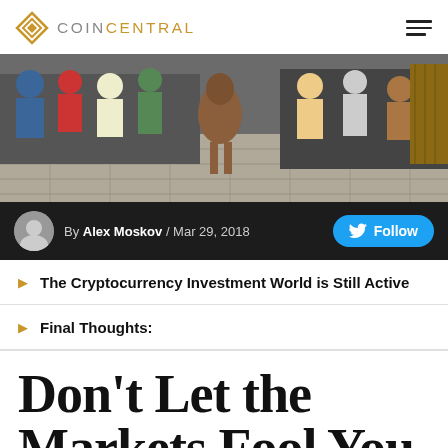COIN CENTRAL
[Figure (photo): Hero banner photo showing a bull running through streets with people (Running of the Bulls scene), cobblestone ground visible.]
By Alex Moskov / Mar 29, 2018
The Cryptocurrency Investment World is Still Active
Final Thoughts:
Don't Let the Markets Fool You